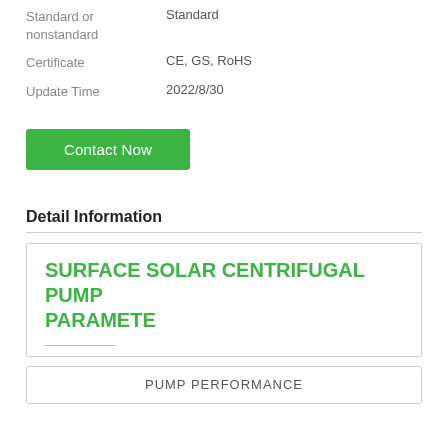| Field | Value |
| --- | --- |
| Standard or nonstandard | Standard |
| Certificate | CE, GS, RoHS |
| Update Time | 2022/8/30 |
Contact Now
Detail Information
SURFACE SOLAR CENTRIFUGAL PUMP PARAMETE
PUMP PERFORMANCE